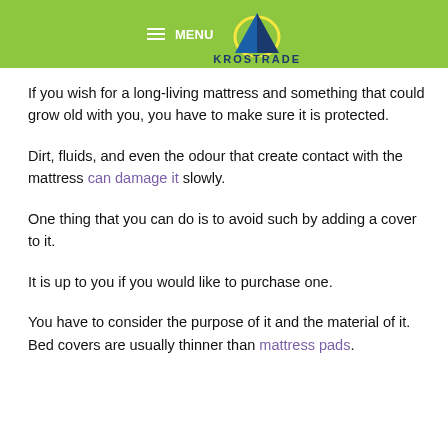MENU | KROSTRADE
If you wish for a long-living mattress and something that could grow old with you, you have to make sure it is protected.
Dirt, fluids, and even the odour that create contact with the mattress can damage it slowly.
One thing that you can do is to avoid such by adding a cover to it.
It is up to you if you would like to purchase one.
You have to consider the purpose of it and the material of it. Bed covers are usually thinner than mattress pads.